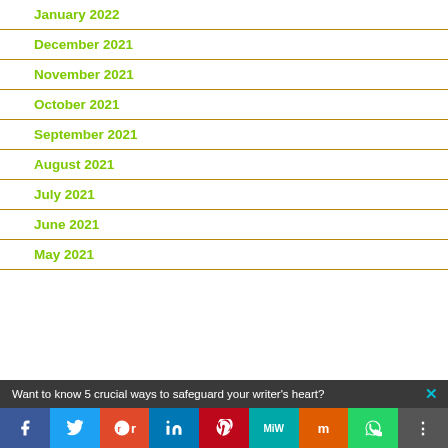January 2022
December 2021
November 2021
October 2021
September 2021
August 2021
July 2021
June 2021
May 2021
Want to know 5 crucial ways to safeguard your writer's heart?